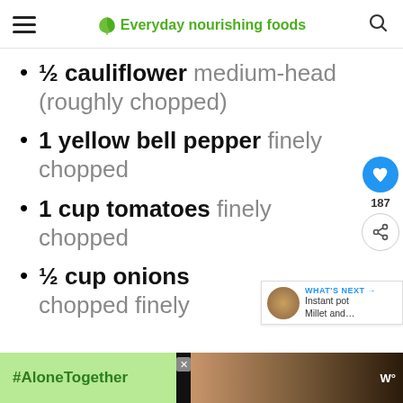Everyday nourishing foods
½ cauliflower medium-head (roughly chopped)
1 yellow bell pepper finely chopped
1 cup tomatoes finely chopped
½ cup onions chopped finely